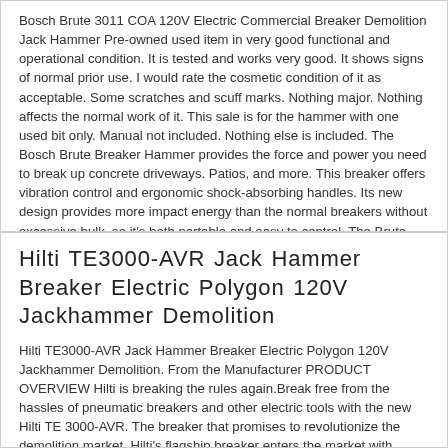Bosch Brute 3011 COA 120V Electric Commercial Breaker Demolition Jack Hammer Pre-owned used item in very good functional and operational condition. It is tested and works very good. It shows signs of normal prior use. I would rate the cosmetic condition of it as acceptable. Some scratches and scuff marks. Nothing major. Nothing affects the normal work of it. This sale is for the hammer with one used bit only. Manual not included. Nothing else is included. The Bosch Brute Breaker Hammer provides the force and power you need to break up concrete driveways. Patios, and more. This breaker offers vibration control and ergonomic shock-absorbing handles. Its new design provides more impact energy than the normal breakers without excessive bulk, so it's both portable and easy to control. The Brute Breaker operates on any standard 15-amp outlet ... more
Hilti TE3000-AVR Jack Hammer Breaker Electric Polygon 120V Jackhammer Demolition
Hilti TE3000-AVR Jack Hammer Breaker Electric Polygon 120V Jackhammer Demolition. From the Manufacturer PRODUCT OVERVIEW Hilti is breaking the rules again.Break free from the hassles of pneumatic breakers and other electric tools with the new Hilti TE 3000-AVR. The breaker that promises to revolutionize the demolition market. Hilti's flagship breaker enters the market with innovations that make it the first 65 pound electro-pneumatic tool that can literally perform head to head with air breakers of the same weight. This means less set up time to get that compressor going, no annoying hoses and gasket leaks, and no more diesel thirsty compressors needed for medium to heavier duty breaking jobs. Our powerful SR brushless motor provides previously unheard of power to weight ratios by eliminating the